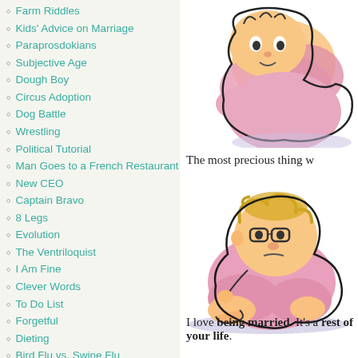Farm Riddles
Kids' Advice on Marriage
Paraprosdokians
Subjective Age
Dough Boy
Circus Adoption
Dog Battle
Wrestling
Political Tutorial
Man Goes to a French Restaurant
New CEO
Captain Bravo
8 Legs
Evolution
The Ventriloquist
I Am Fine
Clever Words
To Do List
Forgetful
Dieting
Bird Flu vs. Swine Flu
[Figure (illustration): Cartoon illustration of a chubby baby/toddler in pink outfit lying on back, top portion]
The most precious thing w
[Figure (illustration): Cartoon illustration of a chubby toddler with glasses in pink outfit, sitting/lying]
I love being married. It's a rest of your life.